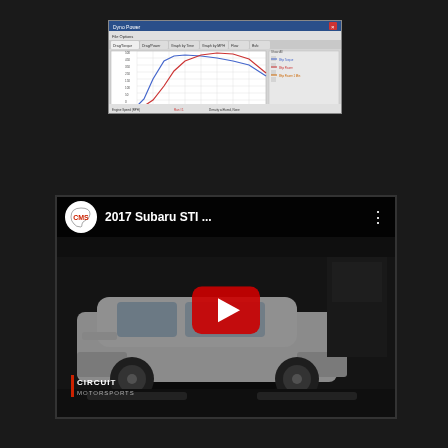[Figure (screenshot): Dyno software screenshot showing engine power and torque curves vs RPM for a Subaru STI. Blue line shows torque curve peaking around 3500 RPM, red line shows power curve peaking around 5500 RPM. Software interface with tabs for Graph by Time, Graph by MPH, Flow, Bsfc. Legend shows Bhp Power, Bhp Torque, Bhp Power.]
[Figure (screenshot): YouTube video thumbnail for '2017 Subaru STI ...' by CMS channel. Shows a white Subaru STI on a dynamometer in a shop. Has YouTube play button overlay in red. Circuit Motorsports logo in bottom left. CMS logo (red letters on white circle with track outline) in top bar.]